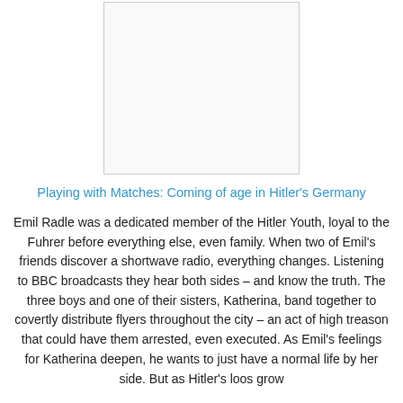[Figure (other): Book cover image placeholder — white rectangle with thin border]
Playing with Matches: Coming of age in Hitler's Germany
Emil Radle was a dedicated member of the Hitler Youth, loyal to the Fuhrer before everything else, even family. When two of Emil's friends discover a shortwave radio, everything changes. Listening to BBC broadcasts they hear both sides – and know the truth. The three boys and one of their sisters, Katherina, band together to covertly distribute flyers throughout the city – an act of high treason that could have them arrested, even executed. As Emil's feelings for Katherina deepen, he wants to just have a normal life by her side. But as Hitler's loos grow